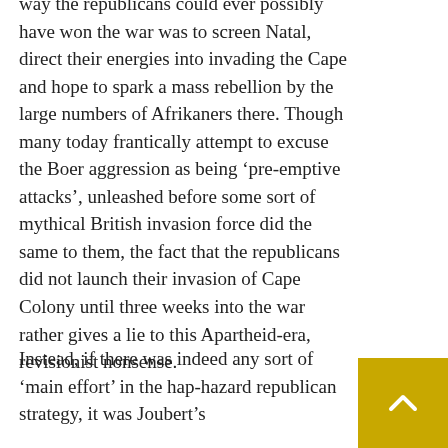way the republicans could ever possibly have won the war was to screen Natal, direct their energies into invading the Cape and hope to spark a mass rebellion by the large numbers of Afrikaners there. Though many today frantically attempt to excuse the Boer aggression as being ‘pre-emptive attacks’, unleashed before some sort of mythical British invasion force did the same to them, the fact that the republicans did not launch their invasion of Cape Colony until three weeks into the war rather gives a lie to this Apartheid-era, revisionist nonsense.
Instead, if there was indeed any sort of ‘main effort’ in the hap-hazard republican strategy, it was Joubert’s